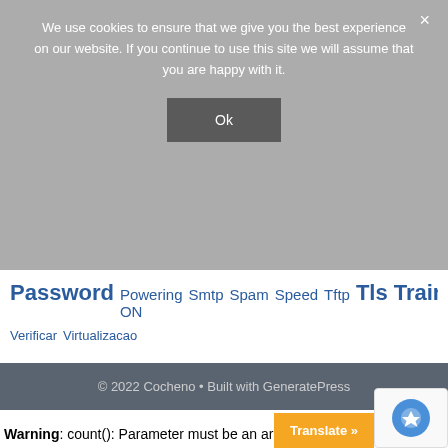We use cookies to ensure that we give you the best experience on our website. If you continue to use this site we will assume that you are happy with it.
Ok
Password Powering ON Smtp Spam Speed Tftp Tls Training Verificar Virtualizacao
© 2022 Cocheno • Built with GeneratePress
Warning: count(): Parameter must be an array or an object that implements Countable in /home/cocheno/public_html/wp-content/plugins/slickquiz/php/slickquiz-front.php line 59